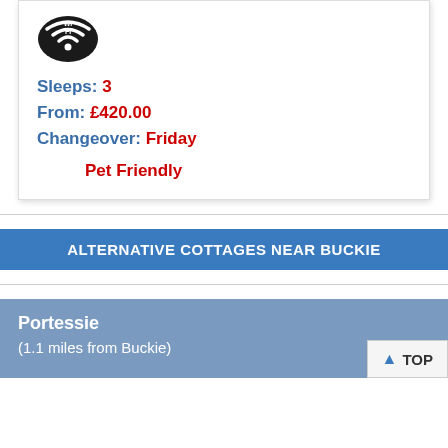[Figure (logo): Wi-Fi logo badge, black and white circular icon with Wi-Fi text]
Sleeps: 3
From: £420.00
Changeover: Friday
Pet Friendly
ALTERNATIVE COTTAGES NEAR BUCKIE
Portessie
(1.1 miles from Buckie)